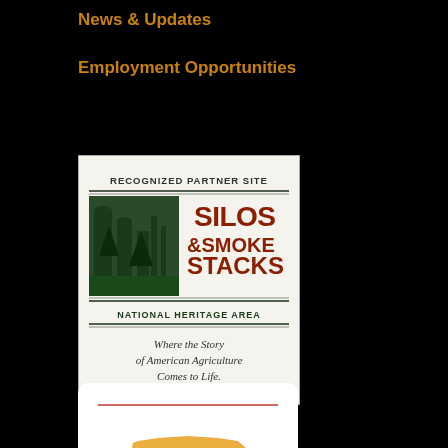News & Updates
Employment Opportunities
[Figure (logo): Silos & Smokestacks National Heritage Area logo. Text reads: RECOGNIZED PARTNER SITE, SILOS & SMOKE STACKS NATIONAL HERITAGE AREA, Where the Story of American Agriculture Comes to Life.]
[Figure (logo): Iowa Museum Association logo with orange state silhouette and dark blue text reading IOWA Museum Association]